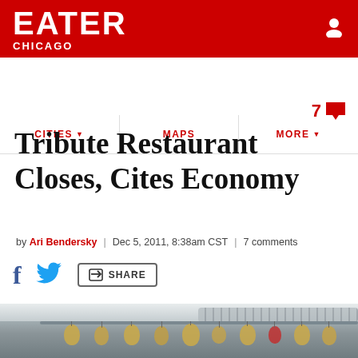EATER CHICAGO
CITIES | MAPS | MORE
Tribute Restaurant Closes, Cites Economy
by Ari Bendersky | Dec 5, 2011, 8:38am CST | 7 comments
[Figure (photo): Interior of a restaurant kitchen or dining area with hanging oval decorative elements on a rail, industrial ceiling with ductwork, warm lighting from above]
7 comments